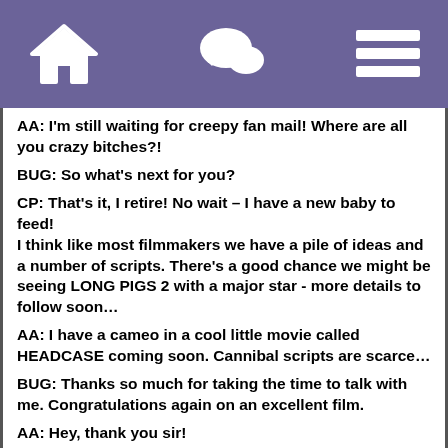Home | Chat | Menu
AA: I'm still waiting for creepy fan mail! Where are all you crazy bitches?!
BUG: So what's next for you?
CP: That's it, I retire! No wait – I have a new baby to feed!
I think like most filmmakers we have a pile of ideas and a number of scripts. There's a good chance we might be seeing LONG PIGS 2 with a major star - more details to follow soon…
AA: I have a cameo in a cool little movie called HEADCASE coming soon. Cannibal scripts are scarce…
BUG: Thanks so much for taking the time to talk with me. Congratulations again on an excellent film.
AA: Hey, thank you sir!
CP: And thanks to your readers! We're always happy to chat and answer questions from fans on the various